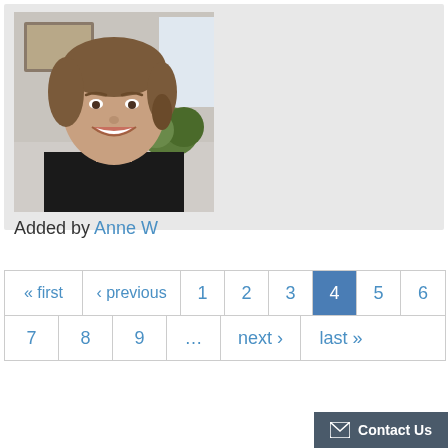[Figure (photo): Portrait photo of a woman with brown hair, smiling, wearing a black top, indoor background with a map on the wall and plants.]
Added by Anne W
« first ‹ previous 1 2 3 4 5 6 7 8 9 … next › last »
Contact Us